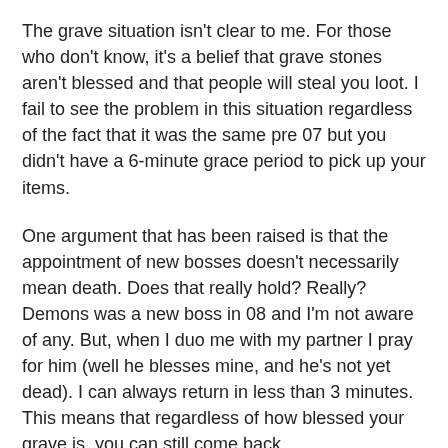The grave situation isn't clear to me. For those who don't know, it's a belief that grave stones aren't blessed and that people will steal you loot. I fail to see the problem in this situation regardless of the fact that it was the same pre 07 but you didn't have a 6-minute grace period to pick up your items.
One argument that has been raised is that the appointment of new bosses doesn't necessarily mean death. Does that really hold? Really? Demons was a new boss in 08 and I'm not aware of any. But, when I duo me with my partner I pray for him (well he blesses mine, and he's not yet dead). I can always return in less than 3 minutes. This means that regardless of how blessed your grave is, you can still come back.
The Corpreal Beast on contrary, was